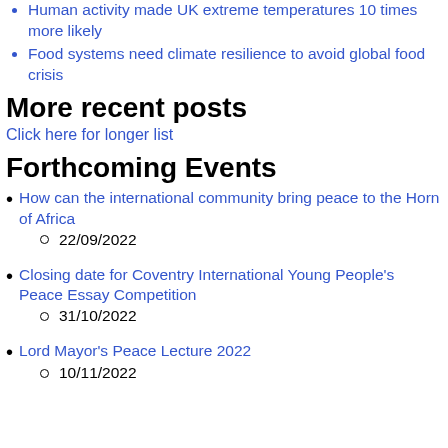Human activity made UK extreme temperatures 10 times more likely
Food systems need climate resilience to avoid global food crisis
More recent posts
Click here for longer list
Forthcoming Events
How can the international community bring peace to the Horn of Africa
22/09/2022
Closing date for Coventry International Young People's Peace Essay Competition
31/10/2022
Lord Mayor's Peace Lecture 2022
10/11/2022